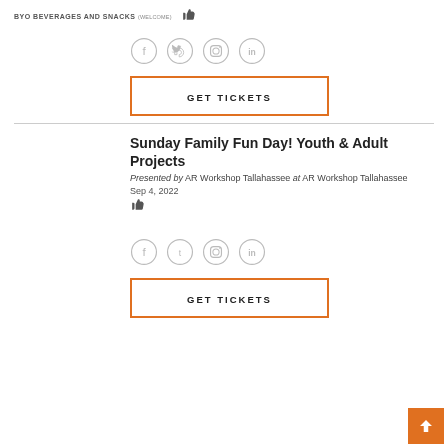BYO BEVERAGES AND SNACKS (WELCOME)
[Figure (illustration): Thumbs up icon]
[Figure (illustration): Social media icons row: Facebook, Twitter, Instagram, LinkedIn]
GET TICKETS
Sunday Family Fun Day! Youth & Adult Projects
Presented by AR Workshop Tallahassee at AR Workshop Tallahassee
Sep 4, 2022
[Figure (illustration): Thumbs up icon]
[Figure (illustration): Social media icons row: Facebook, Twitter, Instagram, LinkedIn]
GET TICKETS
[Figure (illustration): Back to top arrow button (orange)]